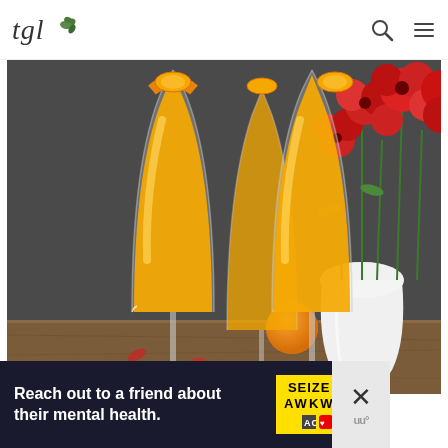tgl (logo with leaf icon), search and menu icons
[Figure (photo): Two champagne flute glasses filled with orange mimosa cocktails, garnished with orange slices on the rim, with a white vase of red flowers and whole oranges in the background, placed on a wooden surface.]
[Figure (infographic): Advertisement banner: 'Reach out to a friend about their mental health.' with SEIZE THE AWKWARD branding in yellow on dark background, with a close/dismiss button on the right.]